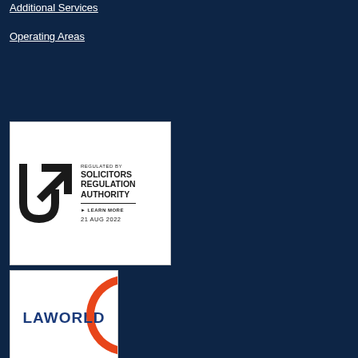Additional Services
Operating Areas
[Figure (logo): Solicitors Regulation Authority regulated badge. Shows SRA logo (U-shape with upward arrow) on left, text 'REGULATED BY SOLICITORS REGULATION AUTHORITY' with 'LEARN MORE' link and date '21 AUG 2022' on right.]
[Figure (logo): Laworld logo showing orange circle/C shape with text 'LAWORLD' in dark blue letters inside.]